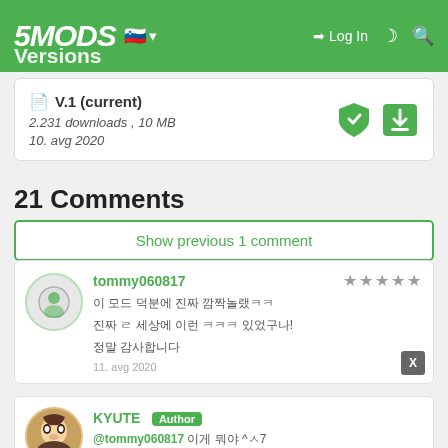5MODS — Log In
Versions
| Version | Downloads/Size | Date |
| --- | --- | --- |
| V.1 (current) | 2.231 downloads , 10 MB | 10. avg 2020 |
21 Comments
Show previous 1 comment
tommy060817
이 모드 덕분에 진짜 깜짝놀랬ㅋㅋ
진짜 ㄹ 세상에 이런 ㅋㅋㅋ 있었구나!
정말 감사합니다
11. avg 2020
KYUTE Author
@tommy060817 이게 뭐야 ^ㅅ7